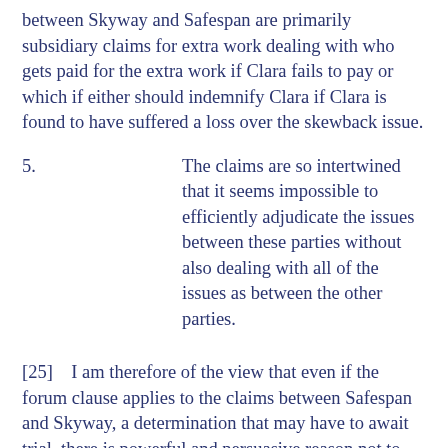between Skyway and Safespan are primarily subsidiary claims for extra work dealing with who gets paid for the extra work if Clara fails to pay or which if either should indemnify Clara if Clara is found to have suffered a loss over the skewback issue.
5.   The claims are so intertwined that it seems impossible to efficiently adjudicate the issues between these parties without also dealing with all of the issues as between the other parties.
[25]   I am therefore of the view that even if the forum clause applies to the claims between Safespan and Skyway, a determination that may have to await trial, there is powerful and persuasive reason not to